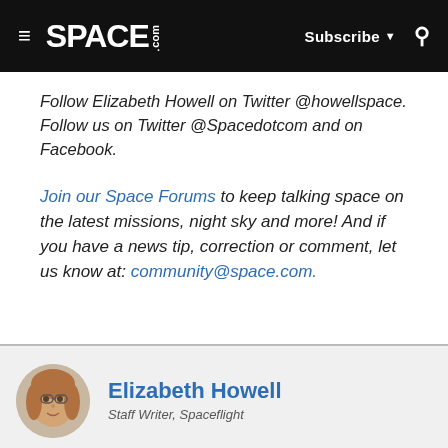SPACE.com | Subscribe | Search
Follow Elizabeth Howell on Twitter @howellspace. Follow us on Twitter @Spacedotcom and on Facebook.
Join our Space Forums to keep talking space on the latest missions, night sky and more! And if you have a news tip, correction or comment, let us know at: community@space.com.
Elizabeth Howell
Staff Writer, Spaceflight